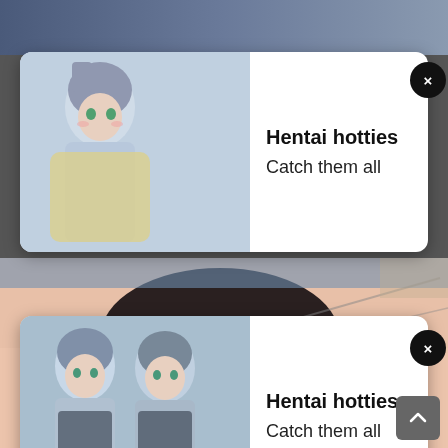[Figure (illustration): Anime/manga style artwork visible in background strips and bottom portion of page]
Hentai hotties
Catch them all
Hentai hotties
Catch them all